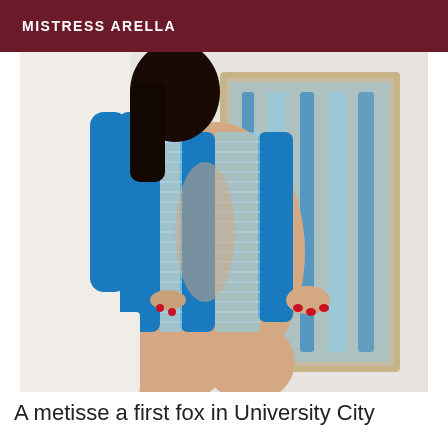MISTRESS ARELLA
[Figure (photo): A woman wearing a blue mesh/cutout bodycon dress, photographed from behind and side, with dark hair, red nail polish, standing near a mirror in a white room.]
A metisse a first fox in University City